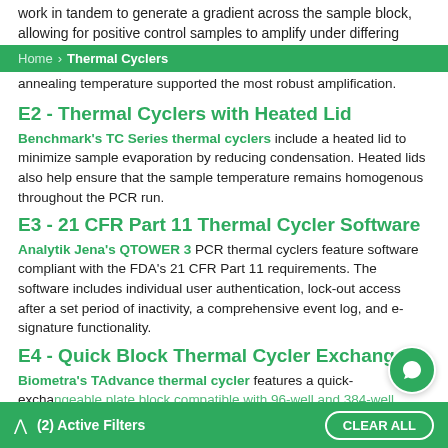work in tandem to generate a gradient across the sample block, allowing for positive control samples to amplify under differing
Home > Thermal Cyclers
annealing temperature supported the most robust amplification.
E2 - Thermal Cyclers with Heated Lid
Benchmark's TC Series thermal cyclers include a heated lid to minimize sample evaporation by reducing condensation. Heated lids also help ensure that the sample temperature remains homogenous throughout the PCR run.
E3 - 21 CFR Part 11 Thermal Cycler Software
Analytik Jena's QTOWER 3 PCR thermal cyclers feature software compliant with the FDA's 21 CFR Part 11 requirements. The software includes individual user authentication, lock-out access after a set period of inactivity, a comprehensive event log, and e-signature functionality.
E4 - Quick Block Thermal Cycler Exchange
Biometra's TAdvance thermal cycler features a quick-exchangeable plate block compatible with 96-well and 384-well microtubes, and 0.2ml PCR strips.
(2) Active Filters   CLEAR ALL